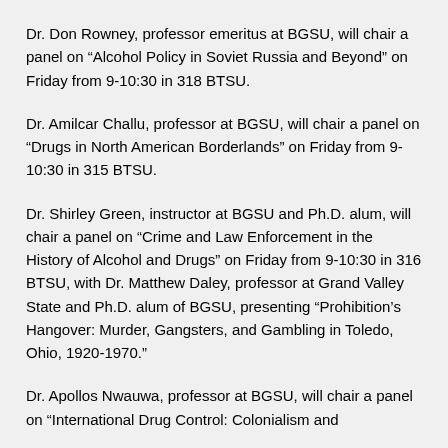Dr. Don Rowney, professor emeritus at BGSU, will chair a panel on “Alcohol Policy in Soviet Russia and Beyond” on Friday from 9-10:30 in 318 BTSU.
Dr. Amilcar Challu, professor at BGSU, will chair a panel on “Drugs in North American Borderlands” on Friday from 9-10:30 in 315 BTSU.
Dr. Shirley Green, instructor at BGSU and Ph.D. alum, will chair a panel on “Crime and Law Enforcement in the History of Alcohol and Drugs” on Friday from 9-10:30 in 316 BTSU, with Dr. Matthew Daley, professor at Grand Valley State and Ph.D. alum of BGSU, presenting “Prohibition’s Hangover: Murder, Gangsters, and Gambling in Toledo, Ohio, 1920-1970.”
Dr. Apollos Nwauwa, professor at BGSU, will chair a panel on “International Drug Control: Colonialism and